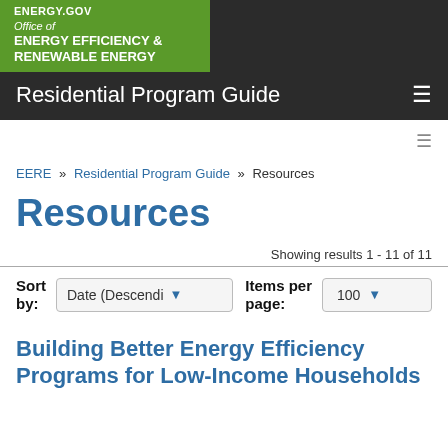ENERGY.GOV | Office of ENERGY EFFICIENCY & RENEWABLE ENERGY | Residential Program Guide
EERE » Residential Program Guide » Resources
Resources
Showing results 1 - 11 of 11
Sort by: Date (Descendi ▼    Items per page: 100 ▼
Building Better Energy Efficiency Programs for Low-Income Households